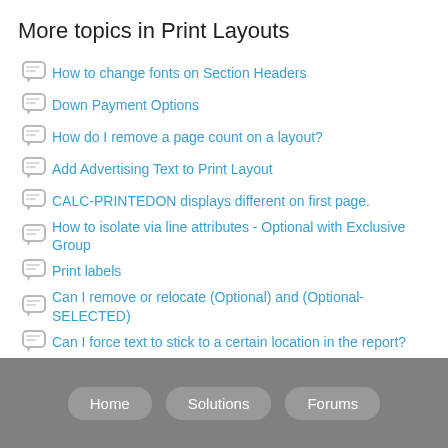More topics in Print Layouts
How to change fonts on Section Headers
Down Payment Options
How do I remove a page count on a layout?
Add Advertising Text to Print Layout
CALC-PRINTEDON displays different on first page.
How to isolate via line attributes - Optional with Exclusive Group
Print labels
Can I remove or relocate (Optional) and (Optional-SELECTED)
Can I force text to stick to a certain location in the report?
Print duplicate when line item quantity is >1
See all 79 topics
Home  Solutions  Forums